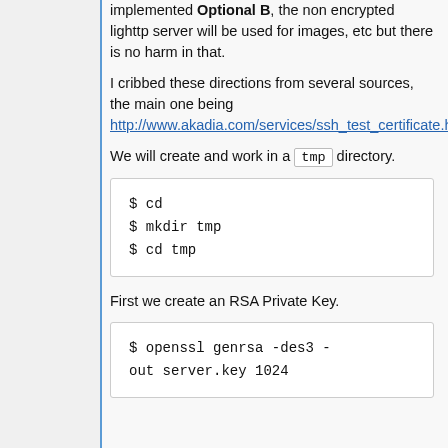implemented Optional B, the non encrypted lighttp server will be used for images, etc but there is no harm in that.
I cribbed these directions from several sources, the main one being http://www.akadia.com/services/ssh_test_certificate.html.
We will create and work in a tmp directory.
$ cd
$ mkdir tmp
$ cd tmp
First we create an RSA Private Key.
$ openssl genrsa -des3 -out server.key 1024